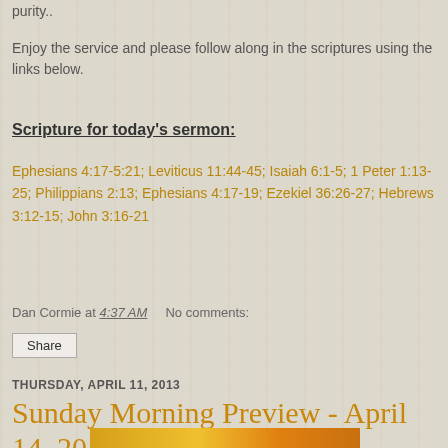purity..
Enjoy the service and please follow along in the scriptures using the links below.
Scripture for today's sermon:
Ephesians 4:17-5:21; Leviticus 11:44-45; Isaiah 6:1-5; 1 Peter 1:13-25; Philippians 2:13; Ephesians 4:17-19; Ezekiel 36:26-27; Hebrews 3:12-15; John 3:16-21
Dan Cormie at 4:37 AM    No comments:
Share
THURSDAY, APRIL 11, 2013
Sunday Morning Preview - April 14, 2013
[Figure (illustration): Bottom decorative banner image with gold/orange gradient]